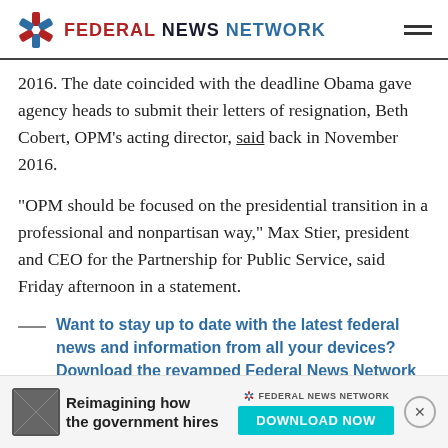FEDERAL NEWS NETWORK
2016. The date coincided with the deadline Obama gave agency heads to submit their letters of resignation, Beth Cobert, OPM's acting director, said back in November 2016.
“OPM should be focused on the presidential transition in a professional and nonpartisan way,” Max Stier, president and CEO for the Partnership for Public Service, said Friday afternoon in a statement.
Want to stay up to date with the latest federal news and information from all your devices? Download the revamped Federal News Network app
Concerns about Schedule F implementation persist
OPM ... under the pr... ses
[Figure (screenshot): Advertisement banner: Reimagining how the government hires - Federal News Network - DOWNLOAD NOW button with close button]